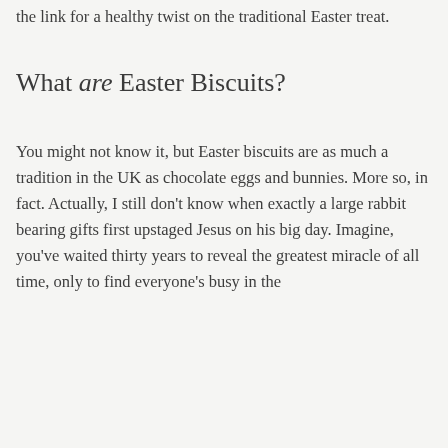the link for a healthy twist on the traditional Easter treat.
What are Easter Biscuits?
You might not know it, but Easter biscuits are as much a tradition in the UK as chocolate eggs and bunnies. More so, in fact. Actually, I still don't know when exactly a large rabbit bearing gifts first upstaged Jesus on his big day. Imagine, you've waited thirty years to reveal the greatest miracle of all time, only to find everyone's busy in the